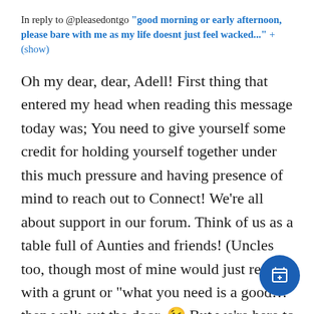In reply to @pleasedontgo "good morning or early afternoon, please bare with me as my life doesnt just feel wacked..." + (show)
Oh my dear, dear, Adell! First thing that entered my head when reading this message today was; You need to give yourself some credit for holding yourself together under this much pressure and having presence of mind to reach out to Connect! We're all about support in our forum. Think of us as a table full of Aunties and friends! (Uncles too, though most of mine would just reply with a grunt or "what you need is a good..." then walk out the door. 😉 But we're here to help in any way we can, sometimes just to lighten the burden off your shoulders by